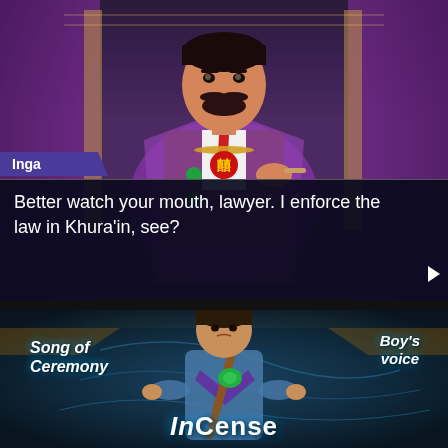[Figure (screenshot): Top game screenshot showing character 'Inga' – a mustachioed man in brown and purple robes in an ornate room, with a dialogue box at the bottom reading 'Better watch your mouth, lawyer. I enforce the law in Khura'in, see?']
Inga
Better watch your mouth, lawyer. I enforce the law in Khura'in, see?
[Figure (screenshot): Bottom game screenshot showing a young boy in a blue robe holding a staff with a green gem, in a mystical blue-lit scene. Text overlays: 'Song of Ceremony', 'Boy's voice', 'InCense']